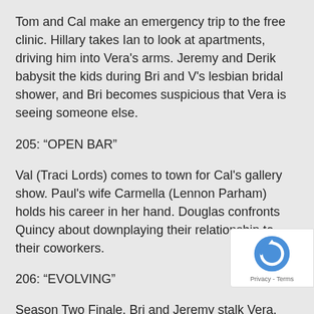Tom and Cal make an emergency trip to the free clinic. Hillary takes Ian to look at apartments, driving him into Vera’s arms. Jeremy and Derik babysit the kids during Bri and V’s lesbian bridal shower, and Bri becomes suspicious that Vera is seeing someone else.
205: “OPEN BAR”
Val (Traci Lords) comes to town for Cal’s gallery show. Paul’s wife Carmella (Lennon Parham) holds his career in her hand. Douglas confronts Quincy about downplaying their relationship to their coworkers.
206: “EVOLVING”
Season Two Finale. Bri and Jeremy stalk Vera. After spending the day with Quincy and Hillary, Thom and Cal run into Jeremy. Cal considers a move to New York.
[Figure (logo): reCAPTCHA badge with logo and Privacy/Terms links]